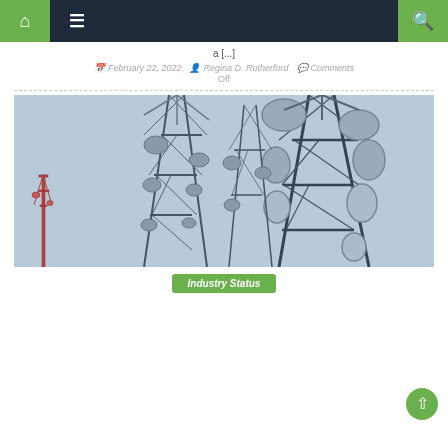Navigation bar with home, menu, and search icons
a [...]
February 22, 2022   Regina D. Rutherford   Comments Off
[Figure (photo): Photograph of telecommunications towers with multiple satellite dishes and antennas against a light blue sky]
Industry Status